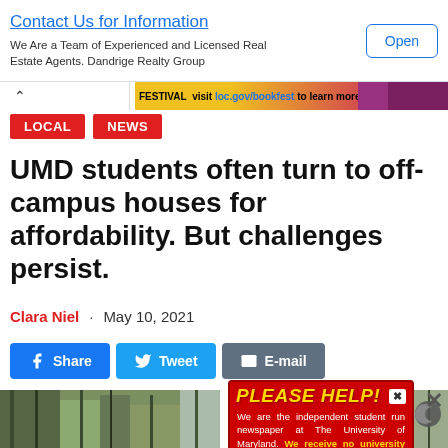[Figure (infographic): Advertisement banner: 'Contact Us for Information' with text 'We Are a Team of Experienced and Licensed Real Estate Agents. Dandrige Realty Group' and an 'Open' button]
[Figure (infographic): National Book Festival banner: 'FESTIVAL visit loc.gov/bookfest to learn more' with colorful background]
LOCAL
NEWS
UMD students often turn to off-campus houses for affordability. But challenges persist.
Clara Niel · May 10, 2021
[Figure (infographic): Social share buttons: Facebook Share, Twitter Tweet, Email E-mail]
[Figure (infographic): Popup advertisement: PLEASE HELP! We are the independent student run newspaper at The University of Maryland. We receive no university financing, no state funds, or public support. If The Diamondback is important to you, please consider a tax-deductible contribution to help us make ends meet. Thank you. CLICK HERE - THE DIAMONDBACK]
[Figure (photo): Trees/outdoor photo strip at bottom of page]